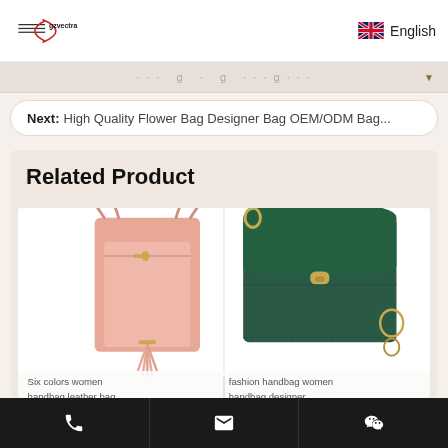gzvectra | English
Next:  High Quality Flower Bag Designer Bag OEM/ODM Bag...
Related Product
[Figure (photo): Two handbags side by side: a pink leather tassel shoulder bag and a dark green structured crossbody handbag.]
Six colors women handbag leather bag |  fashion handbag women handbag designer